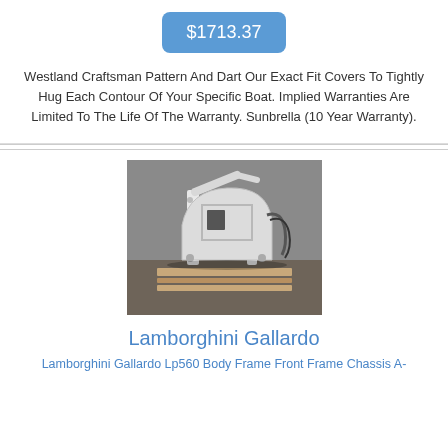$1713.37
Westland Craftsman Pattern And Dart Our Exact Fit Covers To Tightly Hug Each Contour Of Your Specific Boat. Implied Warranties Are Limited To The Life Of The Warranty. Sunbrella (10 Year Warranty).
[Figure (photo): Photo of a white Lamborghini Gallardo body frame front frame chassis part on a wooden pallet in an industrial setting]
Lamborghini Gallardo
Lamborghini Gallardo Lp560 Body Frame Front Frame Chassis A-